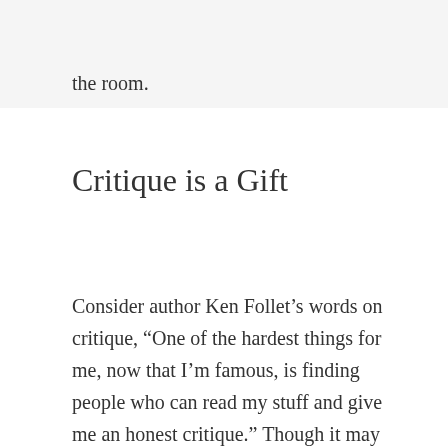the room.
Critique is a Gift
Consider author Ken Follet’s words on critique, “One of the hardest things for me, now that I’m famous, is finding people who can read my stuff and give me an honest critique.” Though it may not always feel like it, design critique is a gift that can move you and your team to new heights. Through some good ground rules, practice and